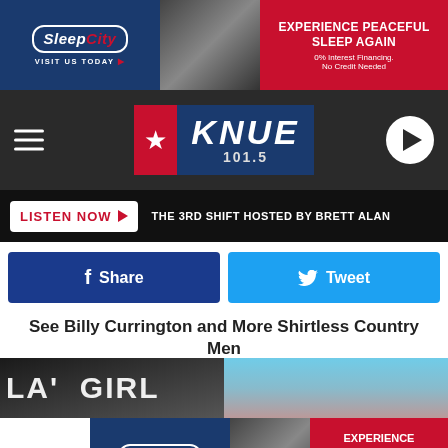[Figure (screenshot): Sleep City advertisement banner at top: blue left section with Sleep City logo and VISIT US TODAY, center shows bed/furniture image strip, red right section with EXPERIENCE PEACEFUL SLEEP AGAIN text, 0% Interest Financing. No Credit Needed]
[Figure (logo): KNUE 101.5 radio station logo on dark background with hamburger menu icon on left, star and KNUE 101.5 logo center, play button circle on right]
[Figure (screenshot): LISTEN NOW button with red text and play arrow, followed by THE 3RD SHIFT HOSTED BY BRETT ALAN text on black bar]
[Figure (screenshot): Facebook Share button (dark blue) and Twitter Tweet button (light blue) social sharing row]
See Billy Currington and More Shirtless Country Men
[Figure (photo): Two side-by-side photos: left shows dark image with LA GIRL text, right shows person wearing red hat on blue background]
[Figure (screenshot): Sleep City advertisement banner at bottom: blue left section with Sleep City logo and VISIT US TODAY, center shows bed/furniture image strip, red right section with EXPERIENCE PEACEFUL SLEEP AGAIN, 0% Interest Financing. No Credit Needed]